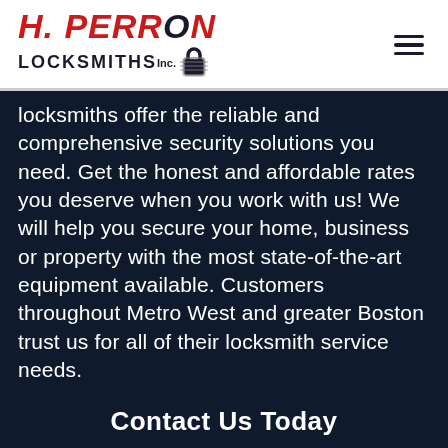[Figure (logo): H. Perron Locksmiths Inc. logo with red italic text for H. PERRON and dark text for LOCKSMITHS Inc. with a padlock icon]
locksmiths offer the reliable and comprehensive security solutions you need. Get the honest and affordable rates you deserve when you work with us! We will help you secure your home, business or property with the most state-of-the-art equipment available. Customers throughout Metro West and greater Boston trust us for all of their locksmith service needs.
Contact Us Today